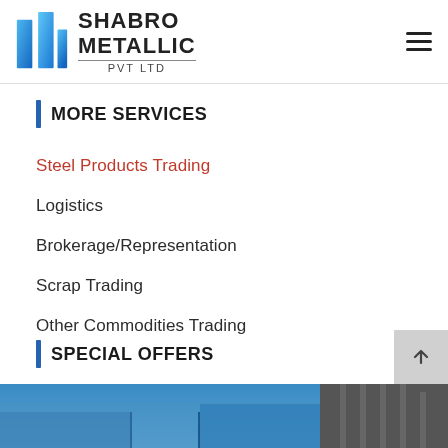[Figure (logo): Shabro Metallic Pvt Ltd logo with two blue building-like shapes and company name text]
MORE SERVICES
Steel Products Trading
Logistics
Brokerage/Representation
Scrap Trading
Other Commodities Trading
SPECIAL OFFERS
[Figure (photo): Bottom strip photo showing industrial/shipping containers or building against a blue sky]